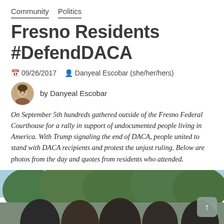Community   Politics
Fresno Residents #DefendDACA
09/26/2017   Danyeal Escobar (she/her/hers)
by Danyeal Escobar
On September 5th hundreds gathered outside of the Fresno Federal Courthouse for a rally in support of undocumented people living in America. With Trump signaling the end of DACA, people united to stand with DACA recipients and protest the unjust ruling. Below are photos from the day and quotes from residents who attended.
[Figure (photo): Photo of people gathered outdoors near trees, taken at the DACA rally outside the Fresno Federal Courthouse.]